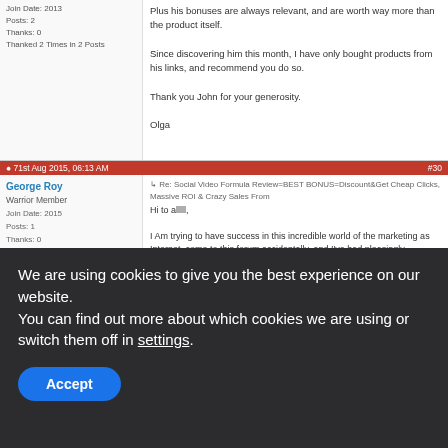Join Date: 2013
Posts: 2
Thanks: 0
Thanked 2 Times in 2 Posts
Plus his bonuses are always relevant, and are worth way more than the product itself.

Since discovering him this month, I have only bought products from his links, and recommend you do so.

Thank you John for your generosity.

Olga
71st Aug 2015, 06:13 AM | #30
George Roy
Warrior Member
Join Date: 2015
Posts: 1
Thanks: 0
Thanked 0 Times in 1 Post
Re: Social Video Formula Review=BEST BONUS=Discount&Get Cheap Clicks, Massive ROI & Crazy Sales From

Hi to alllll,

I Am trying to have success in this incredible world of the marketing as Internet, come to this forum accidentally, and I've had pleasingly surprised by his content.

It is the first time that I buy with John and the experience has been incredible!, heaps of bonds for buying the product of Social Video Formula.

I have received my bonds in question of minutes... WOW! :)

Thank you very much John for giving us so much. From today you have a new follower. Recommended 100 % Regards.

Greetings and see you soon.... :)
1st Sep 2015, 03:30 AM | #40
clubapple
The Income Team
Registered Member
Join Date: 2013
Re: Social Video Formula Review=BEST BONUS=Discount&Get Cheap Clicks, Massive ROI & Crazy Sales From

after receiving all these bonuses (not the junk bonuses you get from the big time marketers- whose names i wont mention), I feel like I just got away with murder or just sold my soul to the devil haha. you're sure there's no strings attached? like these bonuses are free free free right? like not in exchange for my soul or anything like that right? lol thanks. super fast delivery. only problem is that i'm going need to delete all the crap bonuses i got from other marketers over the years to make enough room for all of your goodies. thankssssssssssss!!!
We are using cookies to give you the best experience on our website.
You can find out more about which cookies we are using or switch them off in settings.
Accept